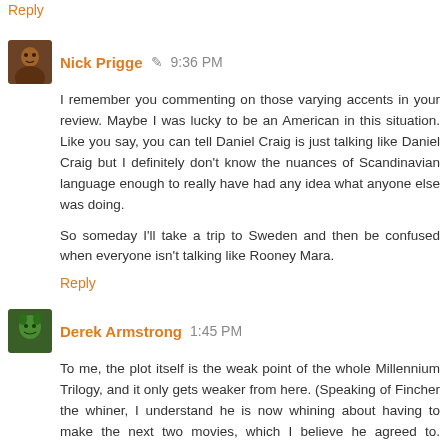Reply
Nick Prigge  9:36 PM
I remember you commenting on those varying accents in your review. Maybe I was lucky to be an American in this situation. Like you say, you can tell Daniel Craig is just talking like Daniel Craig but I definitely don't know the nuances of Scandinavian language enough to really have had any idea what anyone else was doing.

So someday I'll take a trip to Sweden and then be confused when everyone isn't talking like Rooney Mara.
Reply
Derek Armstrong  1:45 PM
To me, the plot itself is the weak point of the whole Millennium Trilogy, and it only gets weaker from here. (Speaking of Fincher the whiner, I understand he is now whining about having to make the next two movies, which I believe he agreed to. Someone told me this, don't yell at